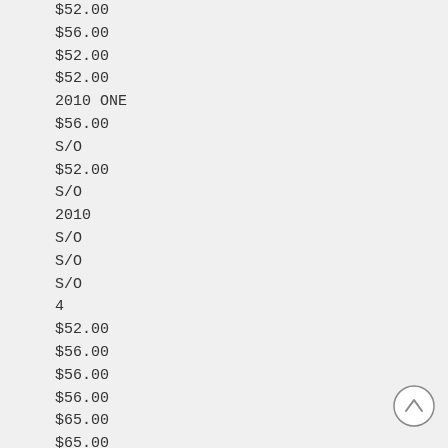$52.00
$56.00
$52.00
$52.00
2010 ONE
$56.00
S/O
$52.00
S/O
2010
S/O
S/O
S/O
4
$52.00
$56.00
$56.00
$56.00
$65.00
$65.00
$65.00
2010
4
$56.00
2010